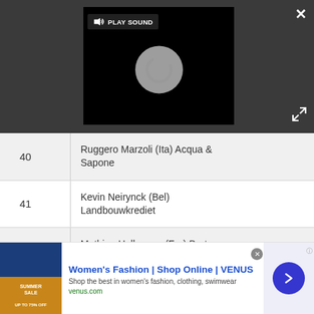[Figure (screenshot): Video player with dark background showing a circular spinner/loading icon and a 'PLAY SOUND' button with speaker icon. There is an X close button top right and expand arrows bottom right.]
| # | Rider |
| --- | --- |
| 40 | Ruggero Marzoli (Ita) Acqua & Sapone |
| 41 | Kevin Neirynck (Bel) Landbouwkrediet |
| 42 | Mathieu Halleguen (Fra) Bretagne - Schuller |
| 43 | Christiano Fumagalli (Ita) Ceramica Flaminia |
| 44 | Bert Bookx (Bel) ... |
[Figure (screenshot): Advertisement banner for Women's Fashion | Shop Online | VENUS. Shows summer sale image on left, ad text in middle, and a blue arrow button on right.]